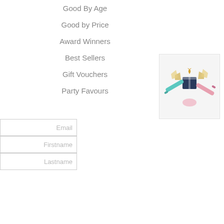Good By Age
Good by Price
Award Winners
Best Sellers
Gift Vouchers
Party Favours
[Figure (photo): Product image showing colorful party favour items with a small gift box in the center, surrounded by colorful pens or markers, on a light background]
Email
Firstname
Lastname